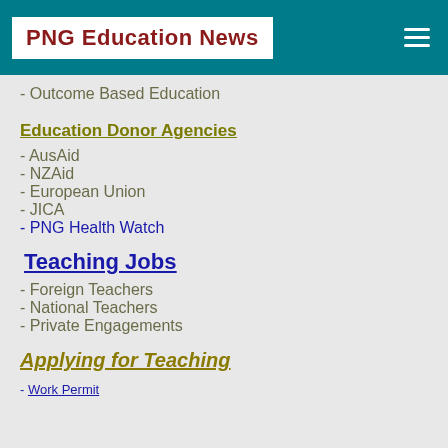PNG Education News
- Outcome Based Education
Education Donor Agencies
- AusAid
- NZAid
- European Union
- JICA
- PNG Health Watch
Teaching Jobs
- Foreign Teachers
- National Teachers
- Private Engagements
Applying for Teaching
- Work Permit